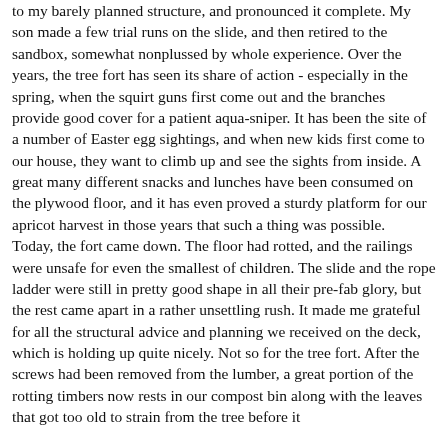to my barely planned structure, and pronounced it complete. My son made a few trial runs on the slide, and then retired to the sandbox, somewhat nonplussed by whole experience. Over the years, the tree fort has seen its share of action - especially in the spring, when the squirt guns first come out and the branches provide good cover for a patient aqua-sniper. It has been the site of a number of Easter egg sightings, and when new kids first come to our house, they want to climb up and see the sights from inside. A great many different snacks and lunches have been consumed on the plywood floor, and it has even proved a sturdy platform for our apricot harvest in those years that such a thing was possible.
Today, the fort came down. The floor had rotted, and the railings were unsafe for even the smallest of children. The slide and the rope ladder were still in pretty good shape in all their pre-fab glory, but the rest came apart in a rather unsettling rush. It made me grateful for all the structural advice and planning we received on the deck, which is holding up quite nicely. Not so for the tree fort. After the screws had been removed from the lumber, a great portion of the rotting timbers now rests in our compost bin along with the leaves that got too old to strain from the tree before it